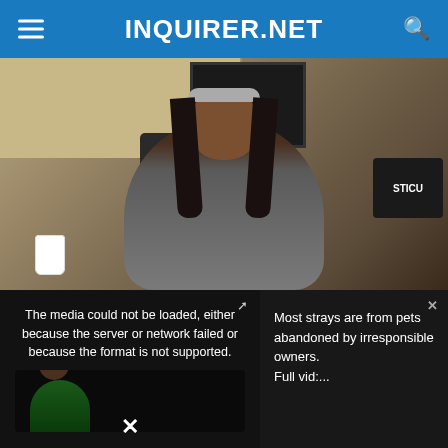INQUIRER.NET
[Figure (photo): A nurse or healthcare worker in gray scrubs with a stethoscope, wearing a floral headband and holding a Starbucks cup, seated at a hospital/medical office workstation. The label 'STICU' is visible on equipment in the background.]
The media could not be loaded, either because the server or network failed or because the format is not supported.
Most strays are from pets abandoned by irresponsible owners. Full vid:...